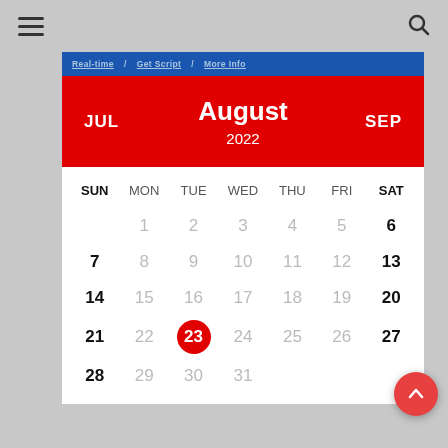[Figure (screenshot): Mobile calendar app screenshot showing August 2022. Header in red with JUL and SEP navigation, month name August, year 2022. Calendar grid with days SUN through SAT. Day 23 highlighted with red circle (today). Navigation tabs at top showing Real-Time, Get Script, More Info. Hamburger menu and search icon in grey top bar. Red FAB button bottom right with up arrow.]
| SUN | MON | TUE | WED | THU | FRI | SAT |
| --- | --- | --- | --- | --- | --- | --- |
|  | 1 | 2 | 3 | 4 | 5 | 6 |
| 7 | 8 | 9 | 10 | 11 | 12 | 13 |
| 14 | 15 | 16 | 17 | 18 | 19 | 20 |
| 21 | 22 | 23 | 24 | 25 | 26 | 27 |
| 28 | 29 | 30 | 31 |  |  |  |